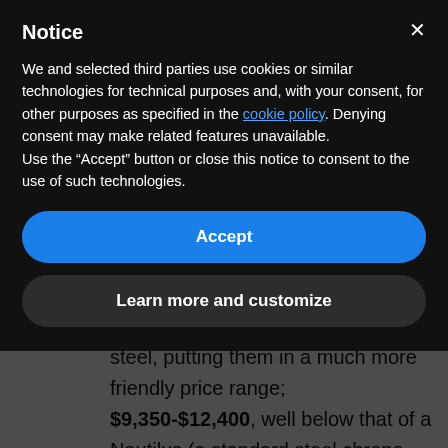Notice
We and selected third parties use cookies or similar technologies for technical purposes and, with your consent, for other purposes as specified in the cookie policy. Denying consent may make related features unavailable.
Use the “Accept” button or close this notice to consent to the use of such technologies.
Accept
Learn more and customize
3 timepieces. Plus, in a first for Piaget, the entire collection is in steel, putting them in a much more friendly price range; $9,350-$12,400, well below that of a Nautilus (a standard steel chrono